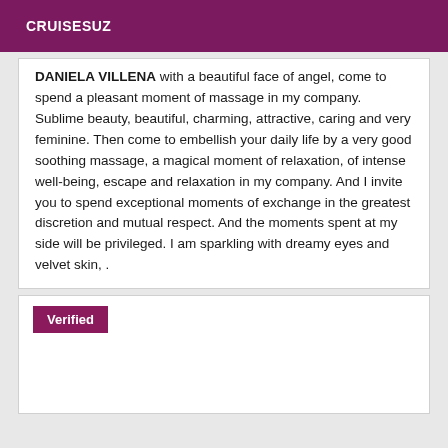CRUISESUZ
DANIELA VILLENA with a beautiful face of angel, come to spend a pleasant moment of massage in my company. Sublime beauty, beautiful, charming, attractive, caring and very feminine. Then come to embellish your daily life by a very good soothing massage, a magical moment of relaxation, of intense well-being, escape and relaxation in my company. And I invite you to spend exceptional moments of exchange in the greatest discretion and mutual respect. And the moments spent at my side will be privileged. I am sparkling with dreamy eyes and velvet skin, .
Verified